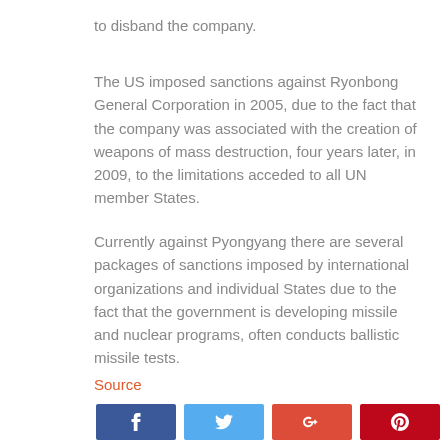to disband the company.
The US imposed sanctions against Ryonbong General Corporation in 2005, due to the fact that the company was associated with the creation of weapons of mass destruction, four years later, in 2009, to the limitations acceded to all UN member States.
Currently against Pyongyang there are several packages of sanctions imposed by international organizations and individual States due to the fact that the government is developing missile and nuclear programs, often conducts ballistic missile tests.
Source
[Figure (other): Social sharing buttons: Facebook, Twitter, Google+, Pinterest (top row); Reddit, WhatsApp, Share (bottom row)]